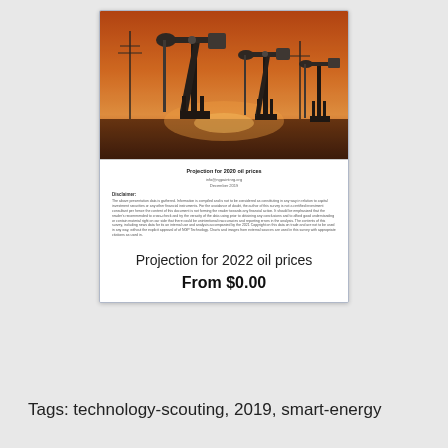[Figure (photo): Oil pump jacks silhouetted against an orange sunset sky]
Projection for 2020 oil prices
info@ngpaintnrg.org
December 2019
Disclaimer:
The above presentation data is gathered. Information is compiled and is not to be considered as constituting in any way in relation to capital investment securities or any other financial instruments. For the avoidance of doubt, the author of this survey is not a certified investment consultant per hence the content of this document is not forming the reader towards any financial action. It should be emphasized that the reader's recommended to cross-check and try the veracity of the data using prior to obtaining any conclusions and to afford good understanding or contain material right on our side that there could be unintentional inaccuracies and reporting errors in the analysis. The contents of this survey, including news data for its an internal use and analysis accompanied by the 2021 Copyright on this data on trade and are not to be used in any way, without the explicit approval of of NGP Technology. Charts and images from external sources are used in this survey with appropriate citations as used in.
Projection for 2022 oil prices
From $0.00
Tags: technology-scouting, 2019, smart-energy